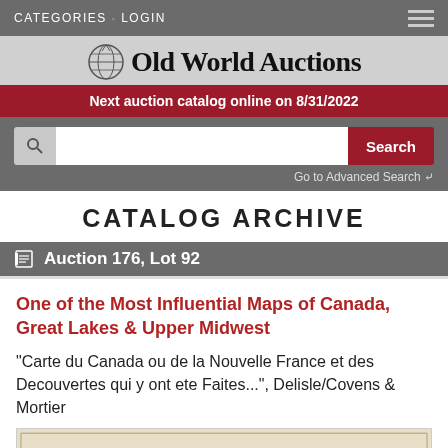CATEGORIES  LOGIN
[Figure (logo): Old World Auctions logo with globe icon and serif typeface]
Next auction catalog online on 8/31/2022
Search  Go to Advanced Search
CATALOG ARCHIVE
Auction 176, Lot 92
One of the Most Influential Maps of Canada, Great Lakes & Upper Midwest
"Carte du Canada ou de la Nouvelle France et des Decouvertes qui y ont ete Faites...", Delisle/Covens & Mortier
[Figure (map): Partial view of an antique map of Canada/New France]